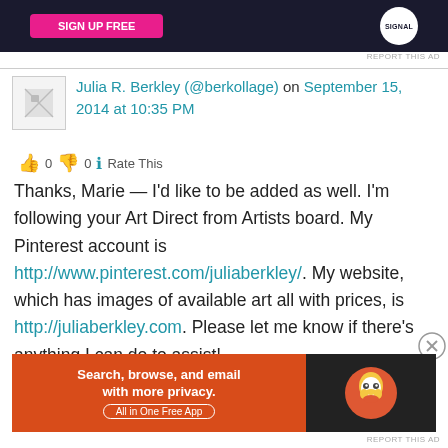[Figure (screenshot): Top advertisement banner with dark background, pink button, and circular logo]
REPORT THIS AD
Julia R. Berkley (@berkollage) on September 15, 2014 at 10:35 PM
👍 0 👎 0 ℹ Rate This
Thanks, Marie — I'd like to be added as well. I'm following your Art Direct from Artists board. My Pinterest account is http://www.pinterest.com/juliaberkley/. My website, which has images of available art all with prices, is http://juliaberkley.com. Please let me know if there's anything I can do to assist!
Advertisements
[Figure (screenshot): DuckDuckGo advertisement: orange left panel with 'Search, browse, and email with more privacy. All in One Free App' and dark right panel with DuckDuckGo duck logo]